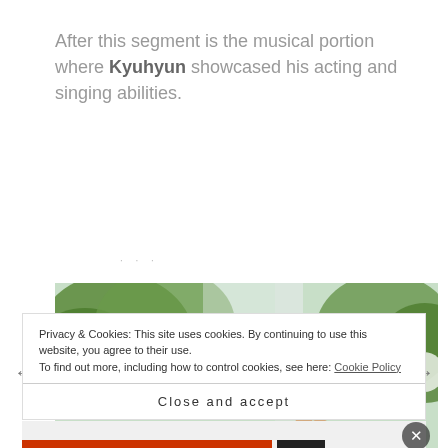After this segment is the musical portion where Kyuhyun showcased his acting and singing abilities.
[Figure (photo): Photo of a young man with brown hair singing or performing, with green leafy background and blurred outdoor setting. He appears to be holding a microphone or earpiece.]
Privacy & Cookies: This site uses cookies. By continuing to use this website, you agree to their use. To find out more, including how to control cookies, see here: Cookie Policy
Close and accept